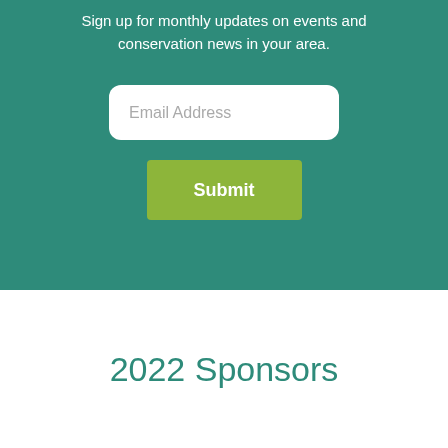Sign up for monthly updates on events and conservation news in your area.
[Figure (other): Email Address input field with white rounded rectangle background]
[Figure (other): Submit button with olive/green background]
2022 Sponsors